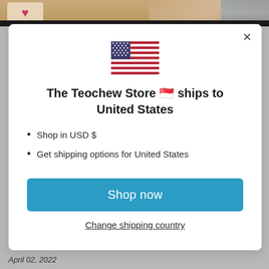[Figure (screenshot): Top banner area of a shopping website with a dark bar at bottom, showing a partial logo on left and a lifestyle/fashion image on right]
[Figure (illustration): US flag emoji/icon displayed in center of modal dialog]
The Teochew Store 🇸🇬 ships to United States
Shop in USD $
Get shipping options for United States
Shop now
Change shipping country
April 02, 2022